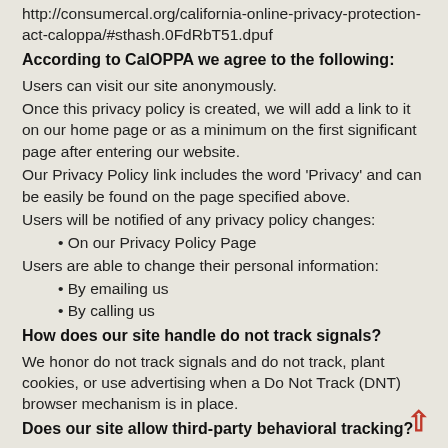http://consumercal.org/california-online-privacy-protection-act-caloppa/#sthash.0FdRbT51.dpuf
According to CalOPPA we agree to the following:
Users can visit our site anonymously.
Once this privacy policy is created, we will add a link to it on our home page or as a minimum on the first significant page after entering our website.
Our Privacy Policy link includes the word 'Privacy' and can be easily be found on the page specified above.
Users will be notified of any privacy policy changes:
On our Privacy Policy Page
Users are able to change their personal information:
By emailing us
By calling us
How does our site handle do not track signals?
We honor do not track signals and do not track, plant cookies, or use advertising when a Do Not Track (DNT) browser mechanism is in place.
Does our site allow third-party behavioral tracking?